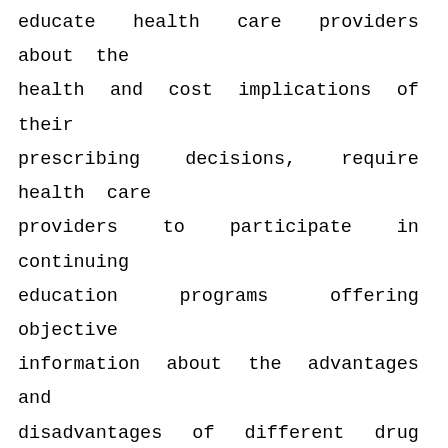educate health care providers about the health and cost implications of their prescribing decisions, require health care providers to participate in continuing education programs offering objective information about the advantages and disadvantages of different drug choices, or adopt a Medicaid pharmacy program that takes cost considerations into account.
        Accordingly, the court held that the statute could not be enforced "to the extent that it purports to restrict the